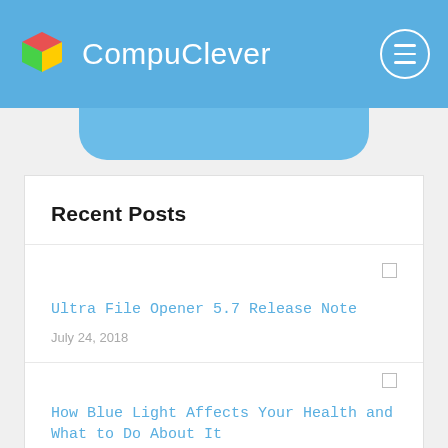CompuClever
Recent Posts
Ultra File Opener 5.7 Release Note
July 24, 2018
How Blue Light Affects Your Health and What to Do About It
May 11, 2018